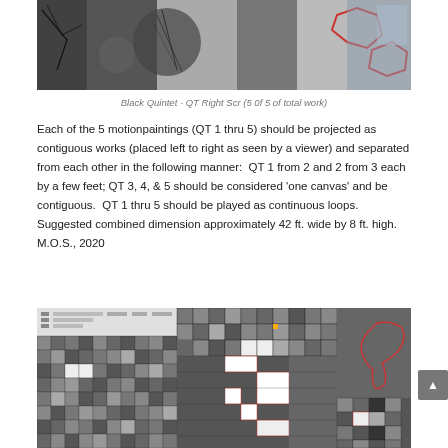[Figure (photo): Black and white photo showing abstract shapes and textures with red polygon outlines overlaid on the right side]
Black Quintet - QT Right Scr (5 0f 5 of total work)
Each of the 5 motionpaintings (QT 1 thru 5) should be projected as contiguous works (placed left to right as seen by a viewer) and separated from each other in the following manner:  QT 1 from 2 and 2 from 3 each by a few feet; QT 3, 4, & 5 should be considered 'one canvas' and be contiguous.  QT 1 thru 5 should be played as continuous loops. Suggested combined dimension approximately 42 ft. wide by 8 ft. high. M.O.S., 2020
[Figure (screenshot): Screenshot showing a grid-based pixelated black and white artwork with red outline of a bird shape on the right side]